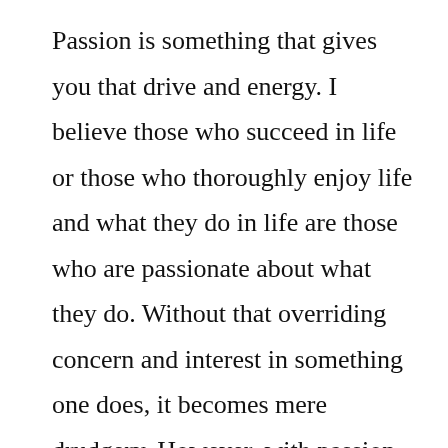Passion is something that gives you that drive and energy. I believe those who succeed in life or those who thoroughly enjoy life and what they do in life are those who are passionate about what they do. Without that overriding concern and interest in something one does, it becomes mere drudgery. However, with passion also comes joy.
How does reading and learning give one passion? I guess I can't really answer that in a lucid manner because I myself do not know